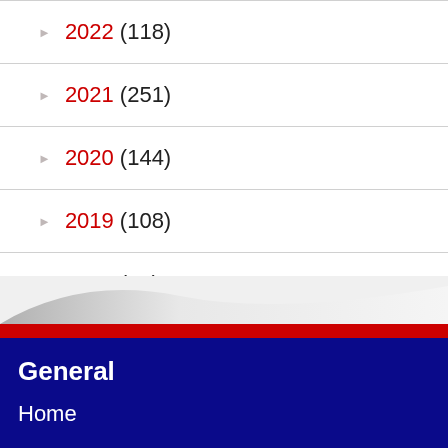2022 (118)
2021 (251)
2020 (144)
2019 (108)
2018 (21)
General
Home